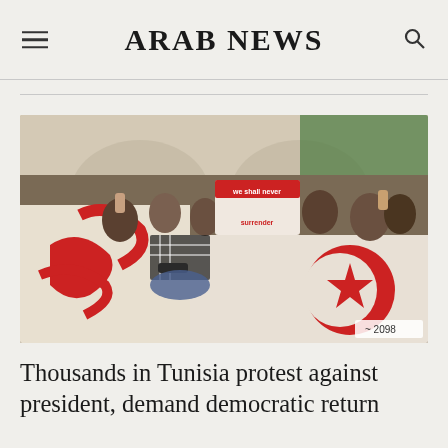ARAB NEWS
[Figure (photo): Crowd of protesters in Tunisia holding Tunisian flags and signs, including one that reads 'we shall never surrender']
Thousands in Tunisia protest against president, demand democratic return